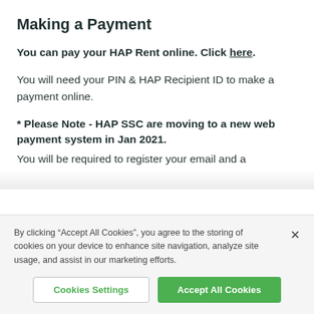Making a Payment
You can pay your HAP Rent online. Click here.
You will need your PIN & HAP Recipient ID to make a payment online.
* Please Note - HAP SSC are moving to a new web payment system in Jan 2021.
You will be required to register your email and a
By clicking “Accept All Cookies”, you agree to the storing of cookies on your device to enhance site navigation, analyze site usage, and assist in our marketing efforts.